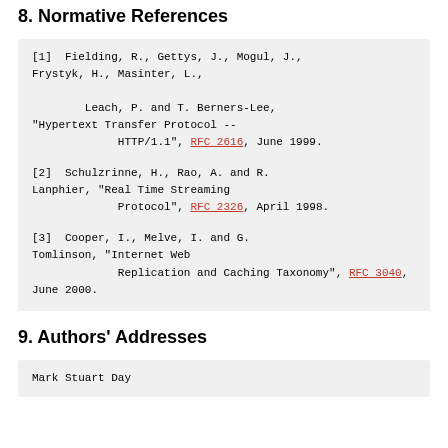8. Normative References
[1]  Fielding, R., Gettys, J., Mogul, J., Frystyk, H., Masinter, L.,

        Leach, P. and T. Berners-Lee, "Hypertext Transfer Protocol --
             HTTP/1.1", RFC 2616, June 1999.
[2]  Schulzrinne, H., Rao, A. and R. Lanphier, "Real Time Streaming
             Protocol", RFC 2326, April 1998.
[3]  Cooper, I., Melve, I. and G. Tomlinson, "Internet Web
             Replication and Caching Taxonomy", RFC 3040, June 2000.
9. Authors' Addresses
Mark Stuart Day